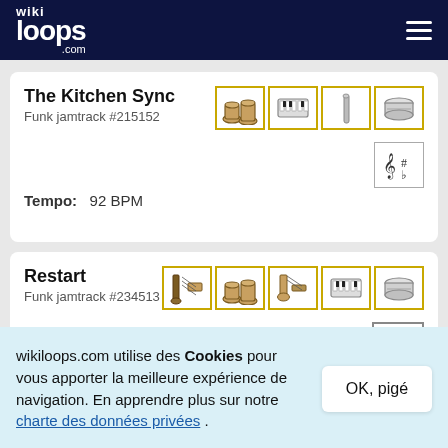wikiloops.com
The Kitchen Sync
Funk jamtrack #215152
[Figure (illustration): Instrument icons: bongos, keyboard/harmonica, triangle/flute, snare drum]
[Figure (illustration): Key signature badge with sharp and flat symbols]
Tempo:   92 BPM
Restart
Funk jamtrack #234513
[Figure (illustration): Instrument icons: bass guitar, bongos, electric guitar, keyboard, snare drum]
[Figure (illustration): HD badge]
wikiloops.com utilise des Cookies pour vous apporter la meilleure expérience de navigation. En apprendre plus sur notre charte des données privées .